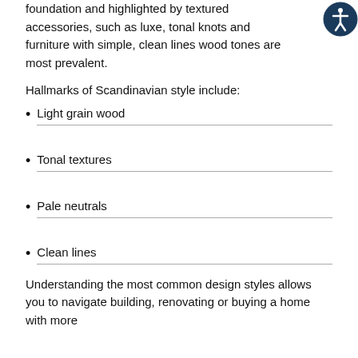foundation and highlighted by textured accessories, such as luxe, tonal knots and furniture with simple, clean lines wood tones are most prevalent.
Hallmarks of Scandinavian style include:
Light grain wood
Tonal textures
Pale neutrals
Clean lines
Understanding the most common design styles allows you to navigate building, renovating or buying a home with more